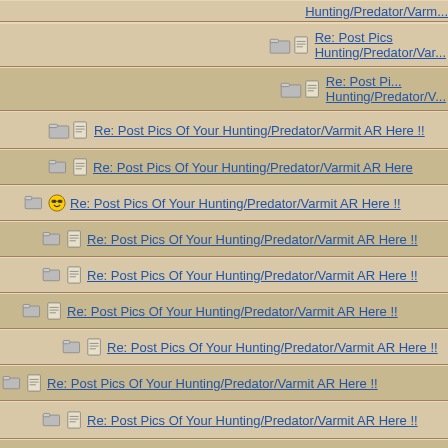Re: Post Pics Of Your Hunting/Predator/Varmit AR Here !!
Re: Post Pics Of Your Hunting/Predator/Varmit AR Here !!
Re: Post Pics Of Your Hunting/Predator/Varmit AR Here !!
Re: Post Pics Of Your Hunting/Predator/Varmit AR Here !!
Re: Post Pics Of Your Hunting/Predator/Varmit AR Here !!
Re: Post Pics Of Your Hunting/Predator/Varmit AR Here !!
Re: Post Pics Of Your Hunting/Predator/Varmit AR Here !!
Re: Post Pics Of Your Hunting/Predator/Varmit AR Here !!
Re: Post Pics Of Your Hunting/Predator/Varmit AR Here !!
Re: Post Pics Of Your Hunting/Predator/Varmit AR Here !!
Re: Post Pics Of Your Hunting/Predator/Varmit AR Here !!
Re: Post Pics Of Your Hunting/Predator/Varmit AR Here !!
Re: Post Pics Of Your Hunting/Predator/Varmit AR Here !!
Re: Post Pics Of Your Hunting/Predator/Varmit AR Here !!
Re: Post Pics Of Your Hunting/Predator/Varmit AR Here !!
Re: Post Pics Of Your Hunting/Predator/Varmit AR Here !!